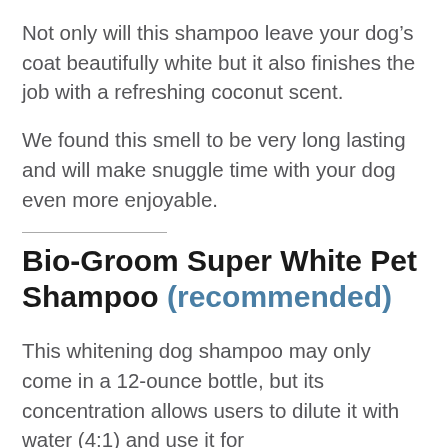Not only will this shampoo leave your dog's coat beautifully white but it also finishes the job with a refreshing coconut scent.
We found this smell to be very long lasting and will make snuggle time with your dog even more enjoyable.
Bio-Groom Super White Pet Shampoo (recommended)
This whitening dog shampoo may only come in a 12-ounce bottle, but its concentration allows users to dilute it with water (4:1) and use it for